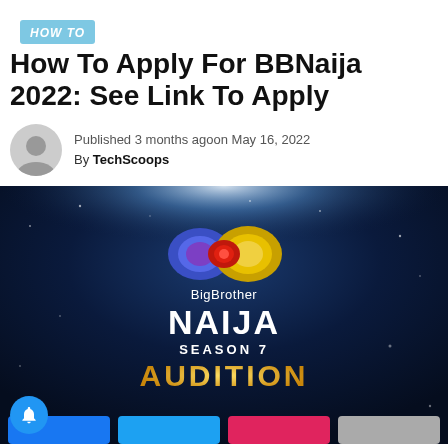HOW TO
How To Apply For BBNaija 2022: See Link To Apply
Published 3 months agoon May 16, 2022
By TechScoops
[Figure (photo): Big Brother Naija Season 7 Audition promotional image on dark blue starry background with colorful eye logo, BigBrother Naija Season 7 Audition text, gold AUDITION text at the bottom]